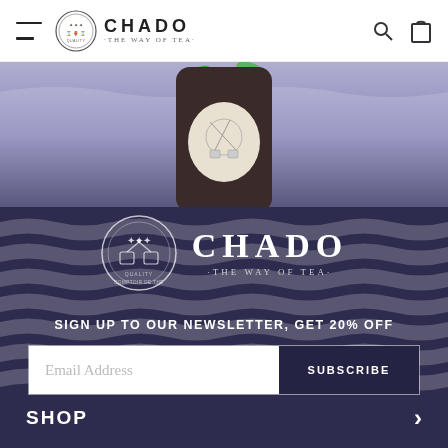[Figure (screenshot): Navigation bar with hamburger menu, Chado tea logo, search and cart icons]
[Figure (photo): Hero image showing a dark tea bottle with Chado label and green leaves on a purple/blue wavy background]
[Figure (logo): Chado - The Way of Tea logo centered on dark purple background]
SIGN UP TO OUR NEWSLETTER, GET 20% OFF
[Figure (screenshot): Email subscription form with Email Address placeholder and SUBSCRIBE button]
SHOP